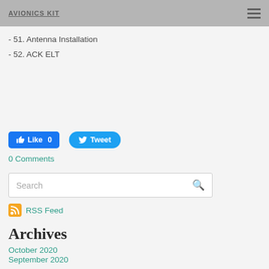AVIONICS KIT
- 51. Antenna Installation
- 52. ACK ELT
[Figure (other): Facebook Like button showing 0 likes and Twitter Tweet button]
0 Comments
[Figure (other): Search box with magnifying glass icon]
[Figure (other): RSS Feed icon and link]
Archives
October 2020
September 2020